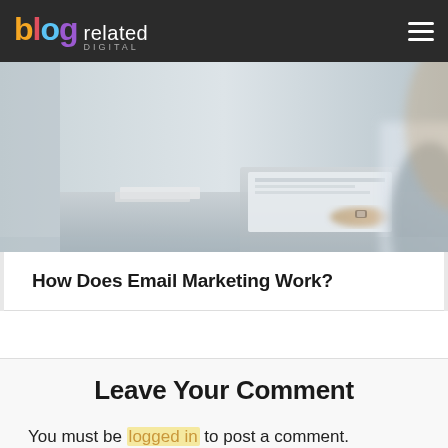blog related DIGITAL
[Figure (photo): Person working at a desk with a laptop, blurred office background, partial view of a person in business attire]
How Does Email Marketing Work?
Leave Your Comment
You must be logged in to post a comment.